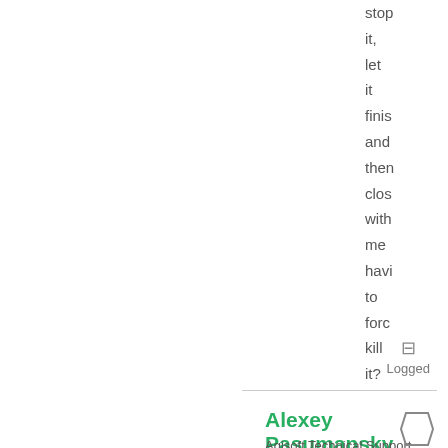stop it, let it finish and then close with me having to force kill it?
Logged
Alexey Pasumansky
Agisoft Technical Support
Hero Member
Posts: 13827
Re: Agi Pho